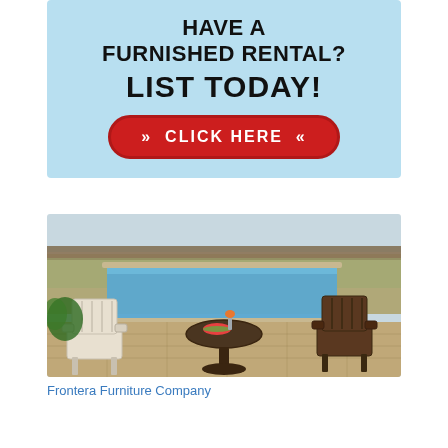[Figure (infographic): Advertisement banner with light blue background. Text reads: HAVE A FURNISHED RENTAL? LIST TODAY! with a red rounded button saying >> CLICK HERE <<]
[Figure (photo): Outdoor poolside patio scene with Adirondack chairs in white/tan and dark brown, a round dark wooden table with watermelon slices and flowers, set beside a blue swimming pool with a wooden fence and natural landscape in the background.]
Frontera Furniture Company